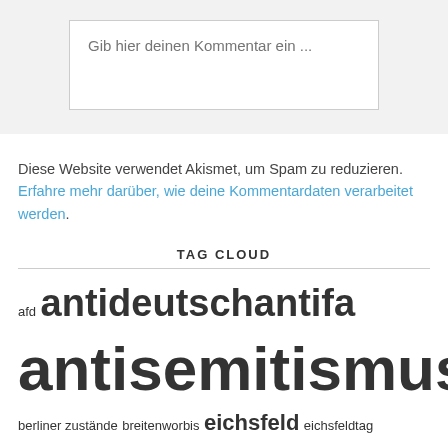Gib hier deinen Kommentar ein ...
Diese Website verwendet Akismet, um Spam zu reduzieren. Erfahre mehr darüber, wie deine Kommentardaten verarbeitet werden.
TAG CLOUD
afd antideutsch antifa antisemitismus antizionismus augstein berliner zustände breitenworbis eichsfeld eichsfeldtag